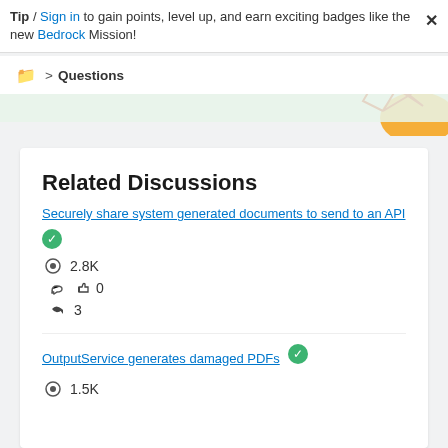Tip / Sign in to gain points, level up, and earn exciting badges like the new Bedrock Mission!
📁 > Questions
Related Discussions
Securely share system generated documents to send to an API
✔ 2.8K views  👍 0  💬 3
OutputService generates damaged PDFs ✔
👁 1.5K